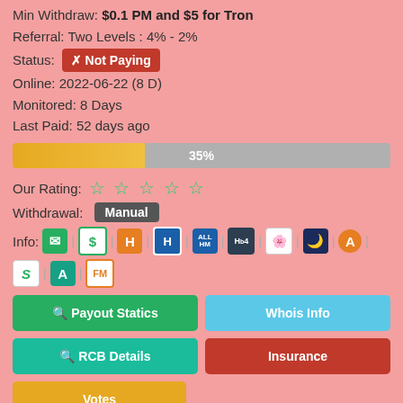Min Withdraw: $0.1 PM and $5 for Tron
Referral: Two Levels : 4% - 2%
Status: ✗ Not Paying
Online: 2022-06-22 (8 D)
Monitored: 8 Days
Last Paid: 52 days ago
[Figure (other): Progress bar showing 35%]
Our Rating: ☆☆☆☆☆
Withdrawal: Manual
Info: [icons row]
Payout Statics | Whois Info
RCB Details | Insurance
Votes
Forum | Forum | Forum |
[Figure (infographic): Bottom icons: PM, Bitcoin, lock, shield, DDOS, SSL]